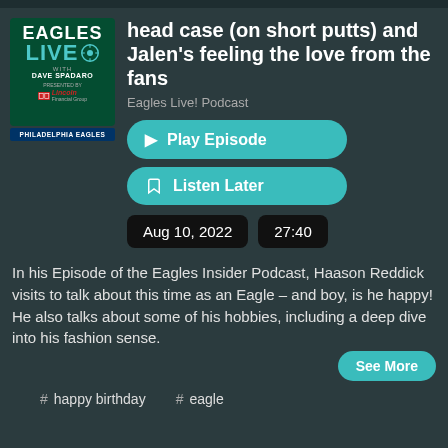[Figure (logo): Eagles Live podcast logo with Lincoln Financial Group sponsor, green background, Philadelphia Eagles branding]
head case (on short putts) and Jalen's feeling the love from the fans
Eagles Live! Podcast
▶ Play Episode
🔖 Listen Later
Aug 10, 2022
27:40
In his Episode of the Eagles Insider Podcast, Haason Reddick visits to talk about this time as an Eagle – and boy, is he happy! He also talks about some of his hobbies, including a deep dive into his fashion sense.
See More
# happy birthday
# eagle